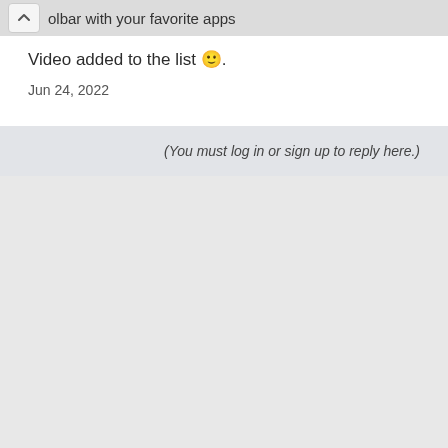olbar with your favorite apps
Video added to the list 🙂.
Jun 24, 2022
(You must log in or sign up to reply here.)